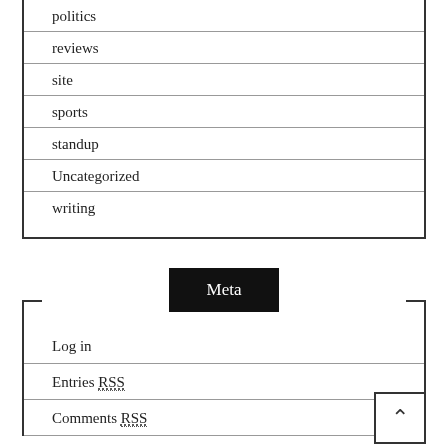politics
reviews
site
sports
standup
Uncategorized
writing
Meta
Log in
Entries RSS
Comments RSS